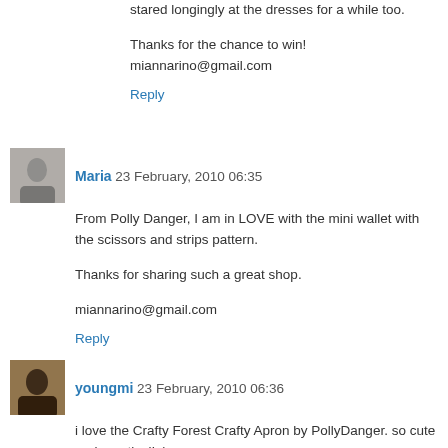stared longingly at the dresses for a while too.
Thanks for the chance to win!
miannarino@gmail.com
Reply
Maria  23 February, 2010 06:35
From Polly Danger, I am in LOVE with the mini wallet with the scissors and strips pattern.
Thanks for sharing such a great shop.
miannarino@gmail.com
Reply
youngmi  23 February, 2010 06:36
i love the Crafty Forest Crafty Apron by PollyDanger. so cute and practical! :)